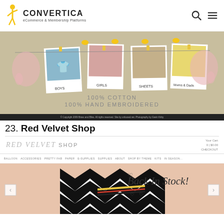CONVERTICA eCommerce & Membership Platforms
[Figure (screenshot): Screenshot of a children's clothing e-commerce website showing polaroid-style photos of Boys, Girls, Sheets, and Mums & Dads categories on a linen background with hand-embroidered illustrations. Text reads '100% COTTON 100% HAND EMBROIDERED'.]
23. Red Velvet Shop
[Figure (screenshot): Screenshot of Red Velvet Shop website showing the store logo, navigation bar, and a hero image of a person holding a black and white chevron patterned bag with 'Back In Stock!' text overlay.]